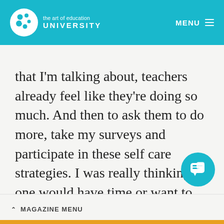the art of education UNIVERSITY  MENU
that I'm talking about, teachers already feel like they're doing so much. And then to ask them to do more, take my surveys and participate in these self care strategies. I was really thinking no one would have time or want to participate, but it was about 26 teachers that joined in. The first part of my research I spent a long time just understanding burnout and there's lots o...
^ MAGAZINE MENU